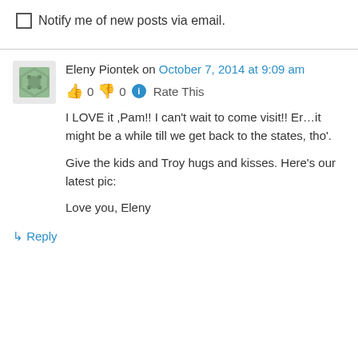Notify me of new posts via email.
Eleny Piontek on October 7, 2014 at 9:09 am
👍 0 👎 0 ℹ Rate This
I LOVE it ,Pam!! I can't wait to come visit!! Er…it might be a while till we get back to the states, tho'.
Give the kids and Troy hugs and kisses. Here's our latest pic:
Love you, Eleny
↳ Reply